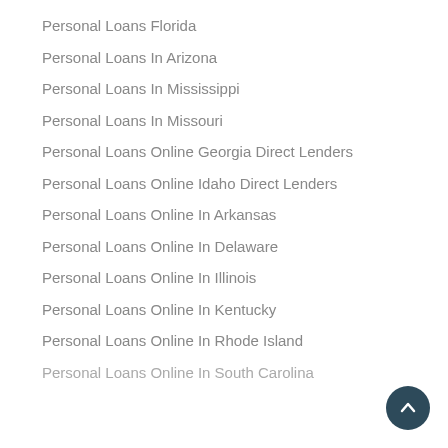Personal Loans Florida
Personal Loans In Arizona
Personal Loans In Mississippi
Personal Loans In Missouri
Personal Loans Online Georgia Direct Lenders
Personal Loans Online Idaho Direct Lenders
Personal Loans Online In Arkansas
Personal Loans Online In Delaware
Personal Loans Online In Illinois
Personal Loans Online In Kentucky
Personal Loans Online In Rhode Island
Personal Loans Online In South Carolina